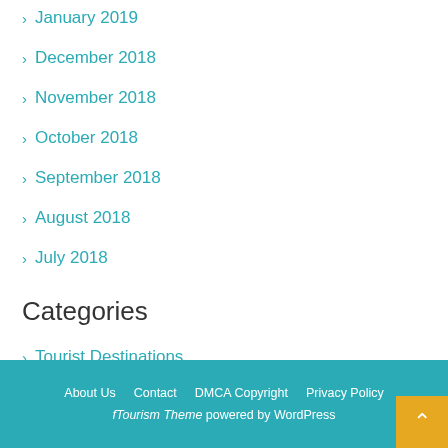January 2019
December 2018
November 2018
October 2018
September 2018
August 2018
July 2018
Categories
Tourist Destinations
About Us   Contact   DMCA Copyright   Privacy Policy
fTourism Theme powered by WordPress